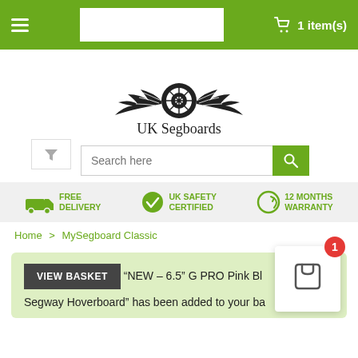1 item(s)
[Figure (logo): UK Segboards logo with winged wheel emblem and text 'UK Segboards']
Search here
[Figure (infographic): Benefits bar showing: FREE DELIVERY, UK SAFETY CERTIFIED, 12 MONTHS WARRANTY]
Home > MySegboard Classic
VIEW BASKET  "NEW – 6.5" G PRO Pink Bl... Segway Hoverboard" has been added to your basket.